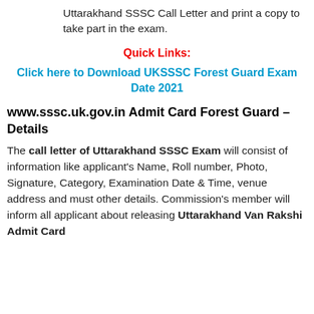Uttarakhand SSSC Call Letter and print a copy to take part in the exam.
Quick Links:
Click here to Download UKSSSC Forest Guard Exam Date 2021
www.sssc.uk.gov.in Admit Card Forest Guard – Details
The call letter of Uttarakhand SSSC Exam will consist of information like applicant's Name, Roll number, Photo, Signature, Category, Examination Date & Time, venue address and must other details. Commission's member will inform all applicant about releasing Uttarakhand Van Rakshi Admit Card